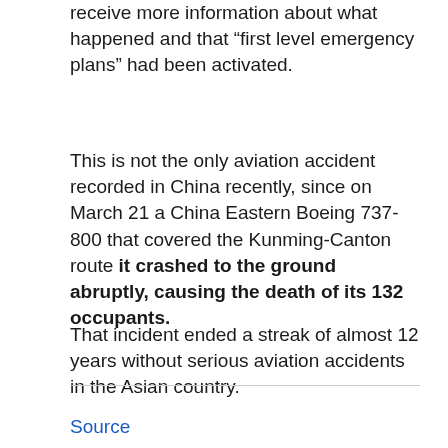receive more information about what happened and that “first level emergency plans” had been activated.
This is not the only aviation accident recorded in China recently, since on March 21 a China Eastern Boeing 737-800 that covered the Kunming-Canton route it crashed to the ground abruptly, causing the death of its 132 occupants.
That incident ended a streak of almost 12 years without serious aviation accidents in the Asian country.
Source